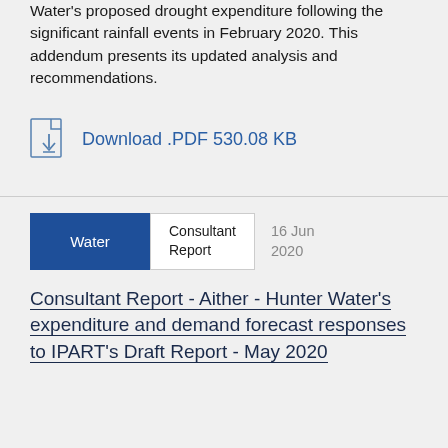Water's proposed drought expenditure following the significant rainfall events in February 2020. This addendum presents its updated analysis and recommendations.
Download .PDF 530.08 KB
Water | Consultant Report | 16 Jun 2020
Consultant Report - Aither - Hunter Water's expenditure and demand forecast responses to IPART's Draft Report - May 2020